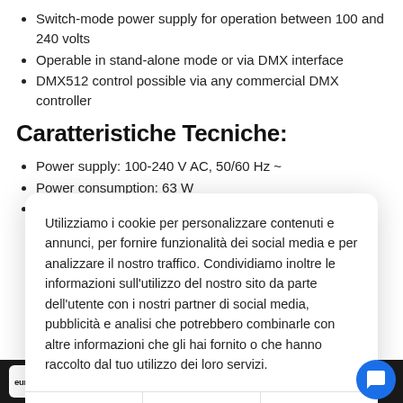Switch-mode power supply for operation between 100 and 240 volts
Operable in stand-alone mode or via DMX interface
DMX512 control possible via any commercial DMX controller
Caratteristiche Tecniche:
Power supply: 100-240 V AC, 50/60 Hz ~
Power consumption: 63 W
Number of DMX channels: 5/6/8
DMX512 connection: 3-pin XLR
Utilizziamo i cookie per personalizzare contenuti e annunci, per fornire funzionalità dei social media e per analizzare il nostro traffico. Condividiamo inoltre le informazioni sull'utilizzo del nostro sito da parte dell'utente con i nostri partner di social media, pubblicità e analisi che potrebbero combinarle con altre informazioni che gli hai fornito o che hanno raccolto dal tuo utilizzo dei loro servizi.
Accept | Customize | More info
eurolite EUROLITE LED SLS-7 QCL 7x10W Floor...